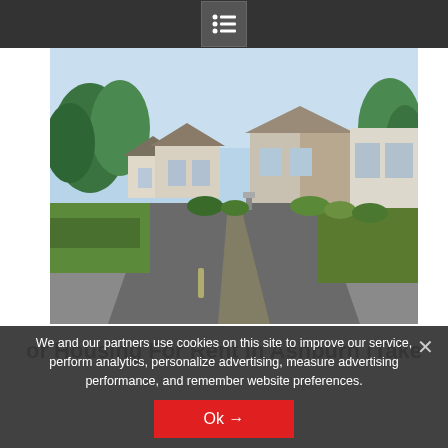Menu / hamburger icon navigation bar
[Figure (photo): Aerial street-level view of a row of single-storey homes with a wide driveway, green gardens and mature trees in the background. Suburban residential housing community.]
or Housing For Rent In Ashburn (Take
We and our partners use cookies on this site to improve our service, perform analytics, personalize advertising, measure advertising performance, and remember website preferences.
Ok →